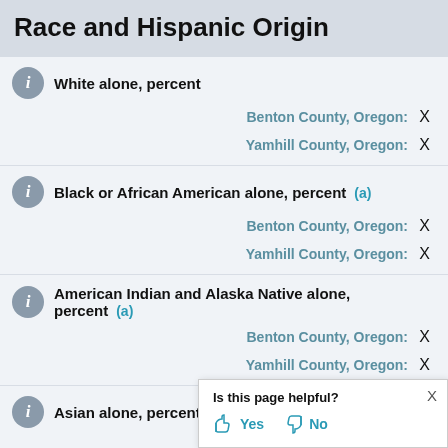Race and Hispanic Origin
White alone, percent
Benton County, Oregon: X
Yamhill County, Oregon: X
Black or African American alone, percent (a)
Benton County, Oregon: X
Yamhill County, Oregon: X
American Indian and Alaska Native alone, percent (a)
Benton County, Oregon: X
Yamhill County, Oregon: X
Asian alone, percent (a)
Benton County, Oregon: ...